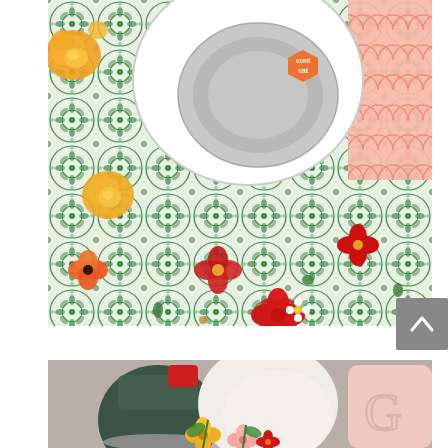[Figure (photo): Overhead flat-lay photo of a green mosaic-patterned tablecloth with colorful flowers (yellow, orange, red) scattered around a white plate with a silver bowl and an orange hexagonal 'cool cat' tag, and a pink patterned paper in the corner.]
[Figure (photo): Partial photo of a party/event setup showing a vintage-style mixer with a red attachment, a pink pillow with embroidered letter, and colorful flowers in the foreground.]